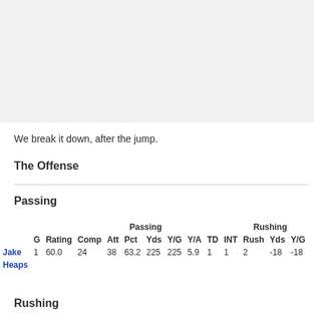[Figure (photo): Image placeholder area at top of page]
We break it down, after the jump.
The Offense
Passing
|  | G | Rating | Comp | Att | Pct | Yds | Y/G | Y/A | TD | INT | Rush | Yds | Y/G |
| --- | --- | --- | --- | --- | --- | --- | --- | --- | --- | --- | --- | --- | --- |
| Jake Heaps | 1 | 60.0 | 24 | 38 | 63.2 | 225 | 225 | 5.9 | 1 | 1 | 2 | -18 | -18 |
Rushing